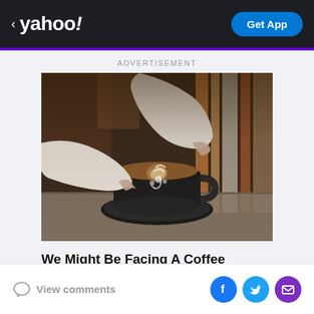< yahoo! | Get App
ADVERTISEMENT
[Figure (photo): Hands holding a dark coffee cup with latte art on a wooden table, with blurred books in the background]
We Might Be Facing A Coffee Supply Problem. Here's Why.
Ad HLD Products
View comments | Facebook | Twitter | Email